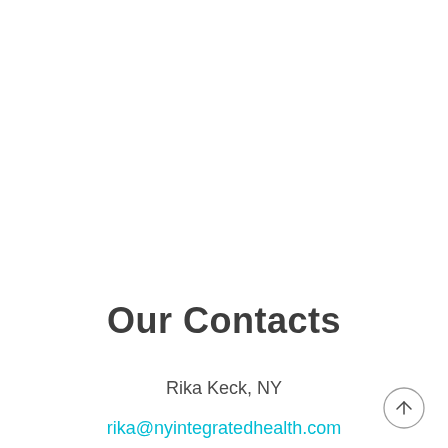Our Contacts
Rika Keck, NY
rika@nyintegratedhealth.com